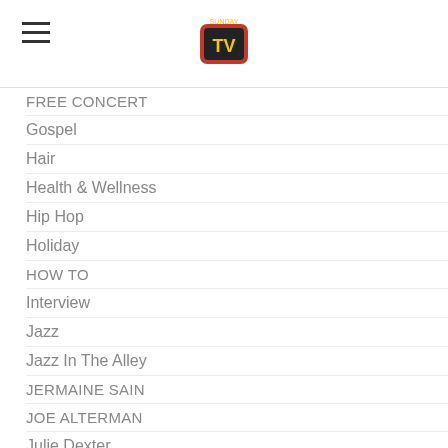[hamburger menu icon] [TV logo]
FREE CONCERT
Gospel
Hair
Health & Wellness
Hip Hop
Holiday
HOW TO
Interview
Jazz
Jazz In The Alley
JERMAINE SAIN
JOE ALTERMAN
Julie Dexter
Juneteenth
Lifetime Movies
LILBURN
Live Music
Los Angeles